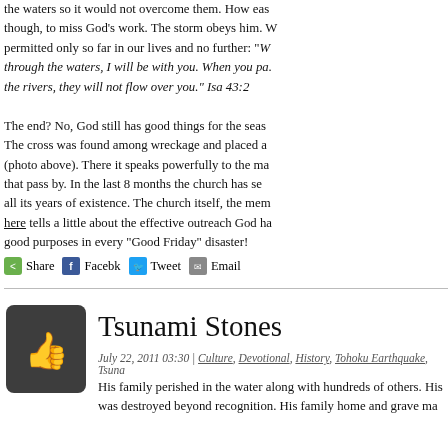the waters so it would not overcome them. How easy, though, to miss God's work. The storm obeys him. W permitted only so far in our lives and no further: "When you pass through the waters, I will be with you. When you pass through the rivers, they will not flow over you." Isa 43:2
The end? No, God still has good things for the seas. The cross was found among wreckage and placed a (photo above). There it speaks powerfully to the ma that pass by. In the last 8 months the church has se all its years of existence. The church itself, the mem here tells a little about the effective outreach God ha good purposes in every "Good Friday" disaster!
Share  Facebk  Tweet  Email
Tsunami Stones
July 22, 2011 03:30 | Culture, Devotional, History, Tohoku Earthquake, Tsuna
His family perished in the water along with hundreds of others. His was destroyed beyond recognition. His family home and grave ma